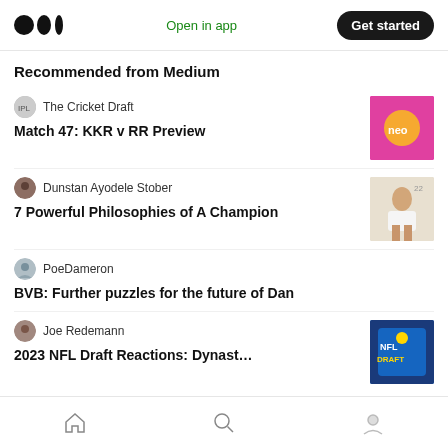Medium — Open in app — Get started
Recommended from Medium
The Cricket Draft — Match 47: KKR v RR Preview
Dunstan Ayodele Stober — 7 Powerful Philosophies of A Champion
PoeDameron — BVB: Further puzzles for the future of Dan
Joe Redemann — 2023 NFL Draft Reactions: Dynasty/IDP
Home | Search | Profile